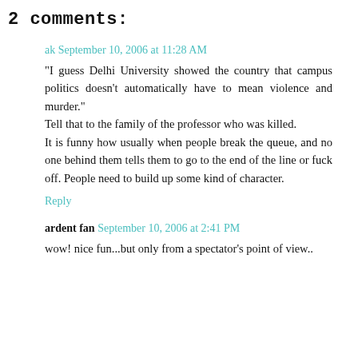2 comments:
ak September 10, 2006 at 11:28 AM
"I guess Delhi University showed the country that campus politics doesn't automatically have to mean violence and murder."
Tell that to the family of the professor who was killed.
It is funny how usually when people break the queue, and no one behind them tells them to go to the end of the line or fuck off. People need to build up some kind of character.
Reply
ardent fan September 10, 2006 at 2:41 PM
wow! nice fun...but only from a spectator's point of view..